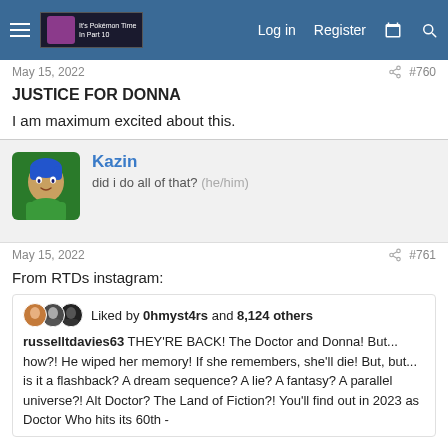Navigation bar with logo, Log in, Register links
May 15, 2022   #760
JUSTICE FOR DONNA
I am maximum excited about this.
[Figure (illustration): User avatar for Kazin - animated character with blue hair]
Kazin
did i do all of that? (he/him)
May 15, 2022   #761
From RTDs instagram:
[Figure (screenshot): Instagram post embed showing likes by 0hmyst4rs and 8,124 others, caption by russelltdavies63: THEY'RE BACK! The Doctor and Donna! But... how?! He wiped her memory! If she remembers, she'll die! But, but... is it a flashback? A dream sequence? A lie? A fantasy? A parallel universe?! Alt Doctor? The Land of Fiction?! You'll find out in 2023 as Doctor Who hits its 60th -]